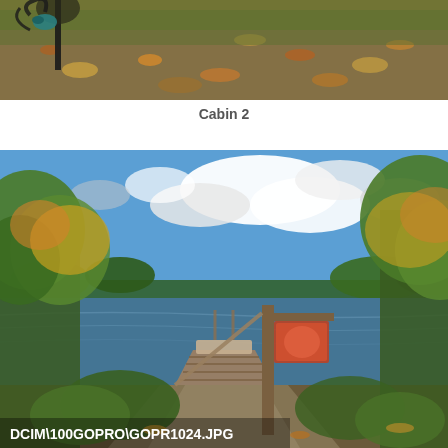[Figure (photo): Outdoor autumn scene viewed from above showing fallen leaves, grass, and what appears to be a dark decorative metal object (possibly a lamp post or garden ornament) in the upper left corner.]
Cabin 2
[Figure (photo): Lakeside scene with a wooden dock extending into a calm lake, framed by autumn-colored trees on both sides. Blue sky with white clouds in the background. A wooden post with a hanging sign/flag is visible. Text overlay reads: DCIM\100GOPRO\GOPR1024.JPG]